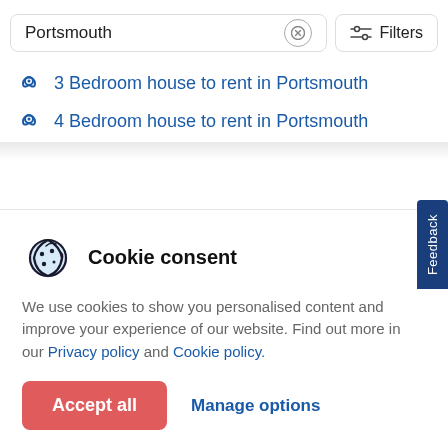Portsmouth
3 Bedroom house to rent in Portsmouth
4 Bedroom house to rent in Portsmouth
Cookie consent
We use cookies to show you personalised content and improve your experience of our website. Find out more in our Privacy policy and Cookie policy.
Accept all
Manage options